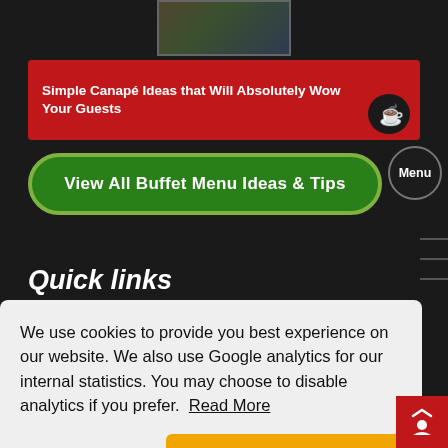[Figure (photo): Small thumbnail image at top center, partially cropped]
Simple Canapé Ideas that Will Absolutely Wow Your Guests
View All Buffet Menu Ideas & Tips
Quick links
We use cookies to provide you best experience on our website. We also use Google analytics for our internal statistics. You may choose to disable analytics if you prefer. Read More
Disable analytics
Got It!